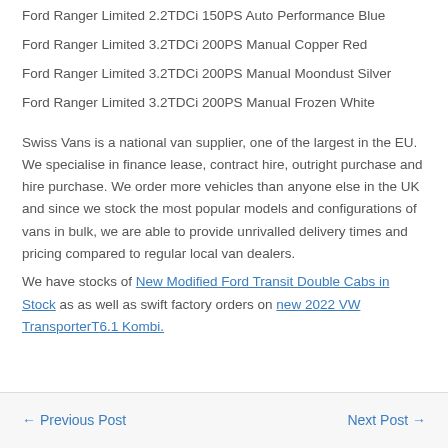Ford Ranger Limited 2.2TDCi 150PS Auto Performance Blue
Ford Ranger Limited 3.2TDCi 200PS Manual Copper Red
Ford Ranger Limited 3.2TDCi 200PS Manual Moondust Silver
Ford Ranger Limited 3.2TDCi 200PS Manual Frozen White
Swiss Vans is a national van supplier, one of the largest in the EU. We specialise in finance lease, contract hire, outright purchase and hire purchase. We order more vehicles than anyone else in the UK and since we stock the most popular models and configurations of vans in bulk, we are able to provide unrivalled delivery times and pricing compared to regular local van dealers.
We have stocks of New Modified Ford Transit Double Cabs in Stock as as well as swift factory orders on new 2022 VW TransporterT6.1 Kombi.
← Previous Post    Next Post →